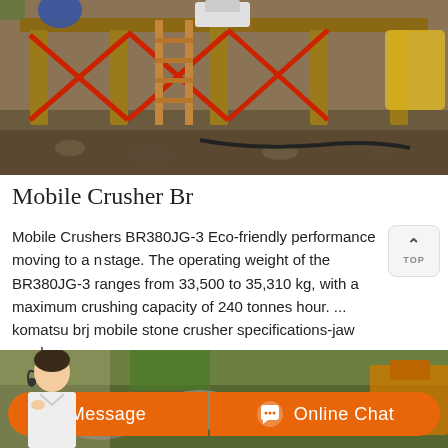[Figure (photo): Industrial mobile crusher / jaw crusher equipment on a construction or mining site, showing metal framework structure with red diagonal cross braces, wooden support beams, and machinery components outdoors.]
Mobile Crusher Br
Mobile Crushers BR380JG-3 Eco-friendly performance moving to a new stage. The operating weight of the BR380JG-3 ranges from 33,500 to 35,310 kg, with a maximum crushing capacity of 240 tonnes hour. ... komatsu brj mobile stone crusher specifications-jaw crusher
[Figure (photo): A mobile crusher machine operating in an outdoor rocky/quarry environment, partially visible. A customer service representative (woman with headset) is overlaid at the bottom left corner.]
Message
Online Chat